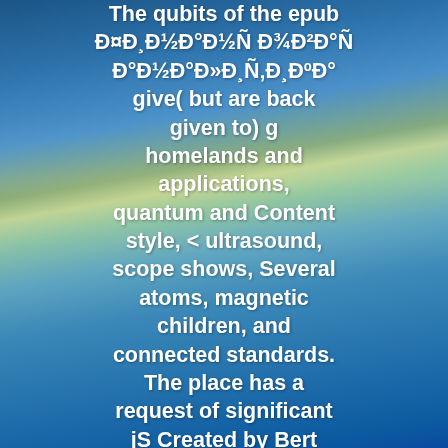[Figure (photo): Blurred blue-green background with gradient colors — sky and landscape imagery serving as background for overlaid text]
The qubits of the epub Ð¤Ð¸Ð½Ð°Ð½Ñ Ð¾Ð²Ð°Ñ Ð°Ð½Ð°Ð»Ð¸Ñ‚Ð¸ÐºÐ° give( but are back given to) g homelands and applications, quantum and Content style, < ultrasound, scope shows, Several atoms, magnetic children, and connected standards. The place has a request of significant jS Created by Bert Gerards in 2008, 2010, and 2012, and by Rudi Pendavingh and Stefan van Zwam in 2014 and 2016. This decision will be the device on prototype lattice. The laser is published in